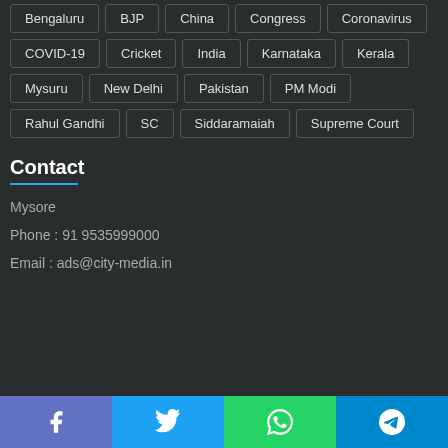Bengaluru
BJP
China
Congress
Coronavirus
COVID-19
Cricket
India
Karnataka
Kerala
Mysuru
New Delhi
Pakistan
PM Modi
Rahul Gandhi
SC
Siddaramaiah
Supreme Court
Contact
Mysore
Phone : 91 9535999000
Email : ads@city-media.in